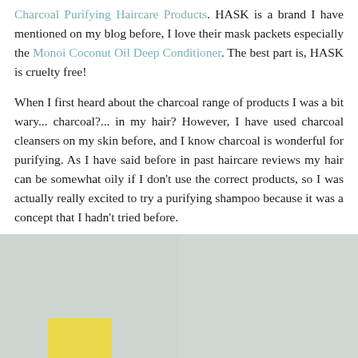Charcoal Purifying Haircare Products. HASK is a brand I have mentioned on my blog before, I love their mask packets especially the Monoi Coconut Oil Deep Conditioner. The best part is, HASK is cruelty free!
When I first heard about the charcoal range of products I was a bit wary... charcoal?... in my hair? However, I have used charcoal cleansers on my skin before, and I know charcoal is wonderful for purifying. As I have said before in past haircare reviews my hair can be somewhat oily if I don't use the correct products, so I was actually really excited to try a purifying shampoo because it was a concept that I hadn't tried before.
[Figure (photo): Two product photos side by side showing HASK Charcoal Purifying Haircare products with yellow caps against a light grey/green background]